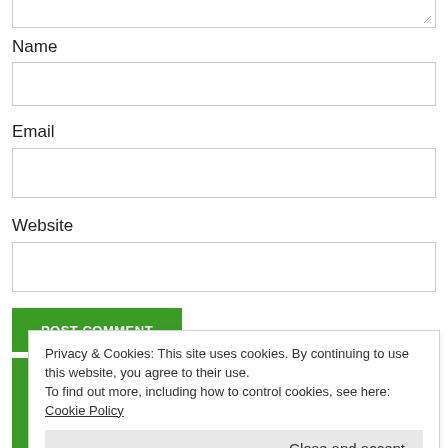[Figure (screenshot): Partial textarea input field at top of page with resize handle]
Name
[Figure (screenshot): Name text input field]
Email
[Figure (screenshot): Email text input field]
Website
[Figure (screenshot): Website text input field]
[Figure (screenshot): POST COMMENT button in green]
Privacy & Cookies: This site uses cookies. By continuing to use this website, you agree to their use.
To find out more, including how to control cookies, see here: Cookie Policy
Close and accept